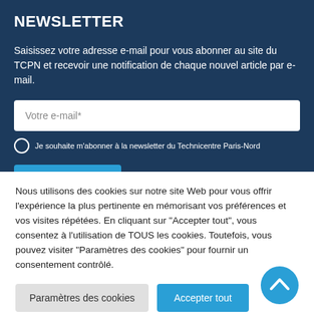NEWSLETTER
Saisissez votre adresse e-mail pour vous abonner au site du TCPN et recevoir une notification de chaque nouvel article par e-mail.
Votre e-mail*
Je souhaite m'abonner à la newsletter du Technicentre Paris-Nord
Je m'abonne
Nous utilisons des cookies sur notre site Web pour vous offrir l'expérience la plus pertinente en mémorisant vos préférences et vos visites répétées. En cliquant sur "Accepter tout", vous consentez à l'utilisation de TOUS les cookies. Toutefois, vous pouvez visiter "Paramètres des cookies" pour fournir un consentement contrôlé.
Paramètres des cookies
Accepter tout